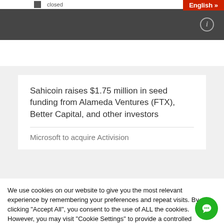Closed
[Figure (screenshot): English language selector button (red background, white text 'English »') in top-right corner]
[Figure (screenshot): Dark grey navigation bar with info icon circle on right]
Sahicoin raises $1.75 million in seed funding from Alameda Ventures (FTX), Better Capital, and other investors
Microsoft to acquire Activision
We use cookies on our website to give you the most relevant experience by remembering your preferences and repeat visits. By clicking "Accept All", you consent to the use of ALL the cookies. However, you may visit "Cookie Settings" to provide a controlled consent.
Cookie Settings
Accept All